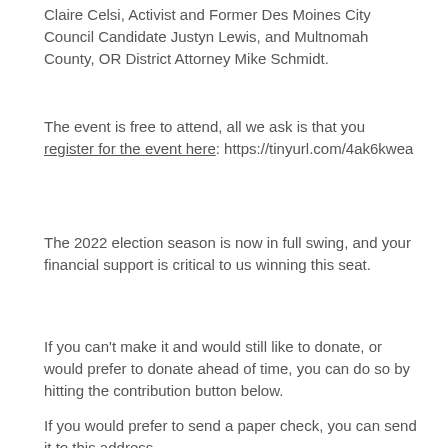Claire Celsi, Activist and Former Des Moines City Council Candidate Justyn Lewis, and Multnomah County, OR District Attorney Mike Schmidt.
The event is free to attend, all we ask is that you register for the event here: https://tinyurl.com/4ak6kwea
The 2022 election season is now in full swing, and your financial support is critical to us winning this seat.
If you can't make it and would still like to donate, or would prefer to donate ahead of time, you can do so by hitting the contribution button below.
If you would prefer to send a paper check, you can send it to this address-